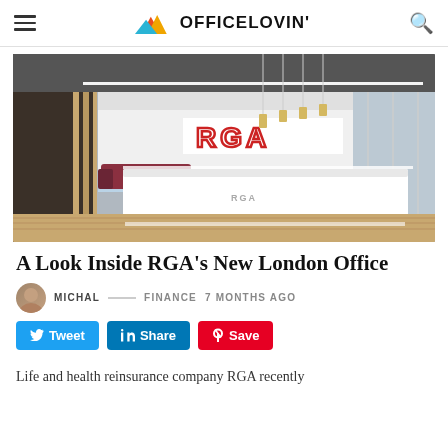OFFICELOVIN'
[Figure (photo): Modern office reception area with white desk featuring RGA logo, open plan workspace with pendant lights and wooden flooring]
A Look Inside RGA’s New London Office
MICHAL — FINANCE 7 MONTHS AGO
Tweet  Share  Save
Life and health reinsurance company RGA recently